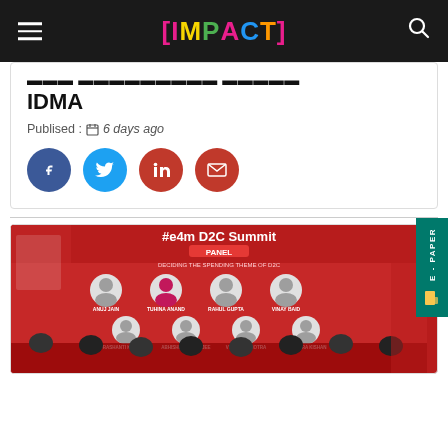[IMPACT]
IDMA
Publised : 6 days ago
[Figure (infographic): Social sharing buttons: Facebook (blue), Twitter (light blue), LinkedIn (red), Email (red)]
[Figure (photo): #e4m D2C Summit PANEL - group photo of panelists seated on stage in front of a red backdrop showing speaker profiles]
[Figure (other): E-PAPER tab on right side]